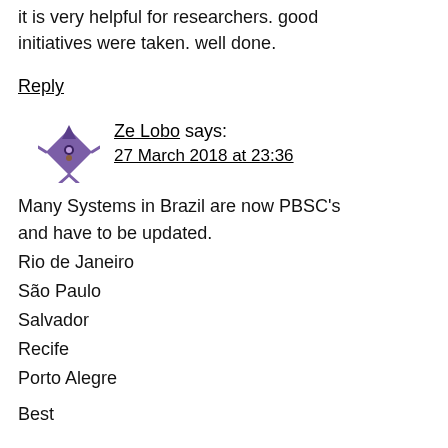it is very helpful for researchers. good initiatives were taken. well done.
Reply
[Figure (illustration): User avatar: a purple cartoon character with hat and legs]
Ze Lobo says:
27 March 2018 at 23:36
Many Systems in Brazil are now PBSC's and have to be updated.
Rio de Janeiro
São Paulo
Salvador
Recife
Porto Alegre
Best